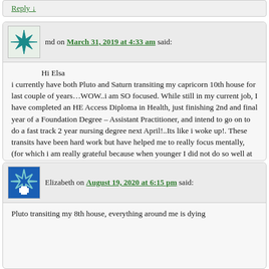Reply ↓
md on March 31, 2019 at 4:33 am said:
Hi Elsa
i currently have both Pluto and Saturn transiting my capricorn 10th house for last couple of years…WOW..i am SO focused. While still in my current job, I have completed an HE Access Diploma in Health, just finishing 2nd and final year of a Foundation Degree – Assistant Practitioner, and intend to go on to do a fast track 2 year nursing degree next April!..Its like i woke up!. These transits have been hard work but have helped me to really focus mentally, (for which i am really grateful because when younger I did not do so well at school). Pluto and Saturn have given me a second chance at academia and change of career in my mid life…life can really turn around under these two planets, but it does take work and effort, but these planets also provide stamina. Also i've taken up jogging to relieve this extra tension…i've got transiting Uranus across my ASC to thank for that! 🙂
Reply ↓
Elizabeth on August 19, 2020 at 6:15 pm said:
Pluto transiting my 8th house, everything around me is dying